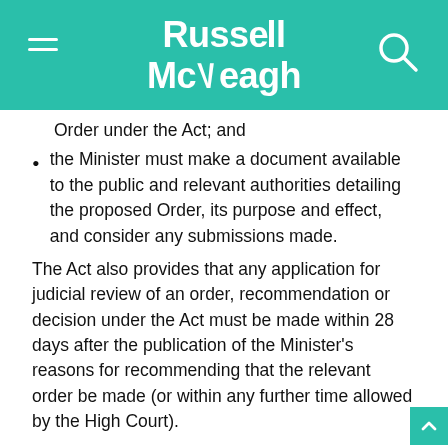Russell McVeagh
Order under the Act; and
the Minister must make a document available to the public and relevant authorities detailing the proposed Order, its purpose and effect, and consider any submissions made.
The Act also provides that any application for judicial review of an order, recommendation or decision under the Act must be made within 28 days after the publication of the Minister's reasons for recommending that the relevant order be made (or within any further time allowed by the High Court).